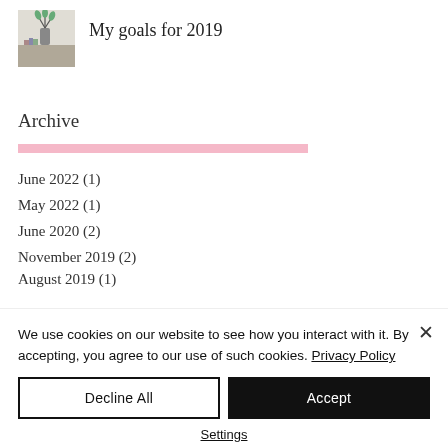[Figure (photo): Small thumbnail photo of a desk/plant arrangement with books or pencils in a vase]
My goals for 2019
Archive
June 2022 (1)
May 2022 (1)
June 2020 (2)
November 2019 (2)
August 2019 (1)
We use cookies on our website to see how you interact with it. By accepting, you agree to our use of such cookies. Privacy Policy
Decline All
Accept
Settings